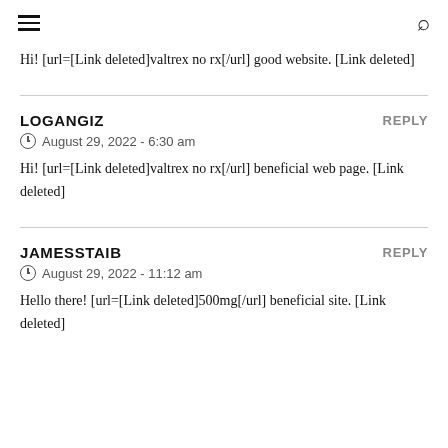≡  🔍
Hi! [url=[Link deleted]valtrex no rx[/url] good website. [Link deleted]
LOGANGIZ
August 29, 2022 - 6:30 am
Hi! [url=[Link deleted]valtrex no rx[/url] beneficial web page. [Link deleted]
JAMESSTAIB
August 29, 2022 - 11:12 am
Hello there! [url=[Link deleted]500mg[/url] beneficial site. [Link deleted]